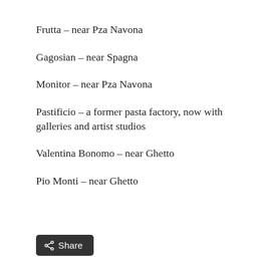Frutta – near Pza Navona
Gagosian – near Spagna
Monitor – near Pza Navona
Pastificio – a former pasta factory, now with galleries and artist studios
Valentina Bonomo – near Ghetto
Pio Monti – near Ghetto
[Figure (other): Share button with share icon]